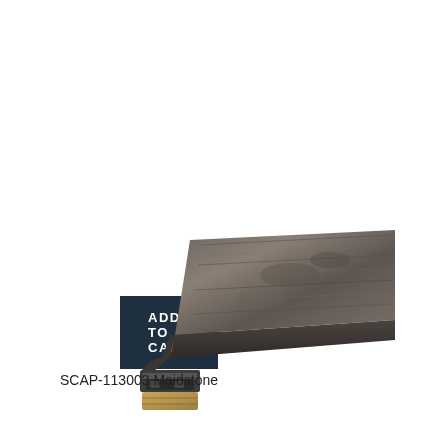[Figure (other): Dark teal/navy rectangular 'ADD TO CART' button]
[Figure (photo): A T-molding floor transition strip in a dark grey/brown wood grain finish called Maidstone, shown at an angle with a gold-colored clip base visible at the bottom left end.]
SCAP-113003 Maidstone